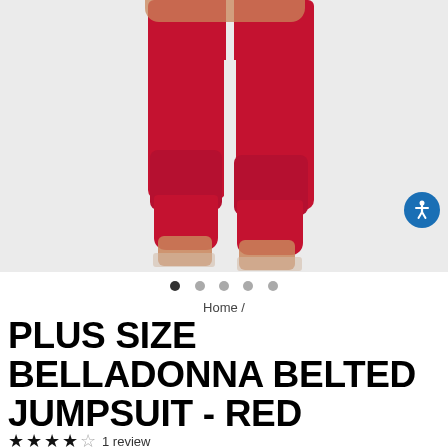[Figure (photo): Product photo showing lower body of a plus-size model wearing a red belted jumpsuit with clear heeled sandals against a light grey background]
Home /
PLUS SIZE BELLADONNA BELTED JUMPSUIT - RED
★★★★☆ 1 review